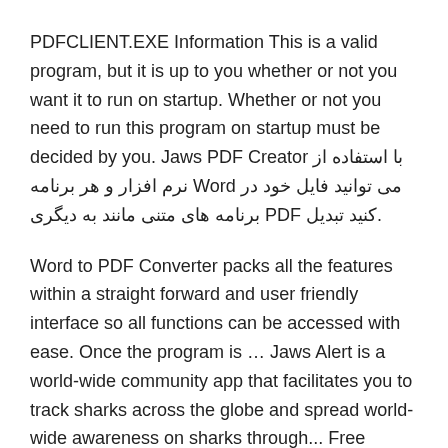PDFCLIENT.EXE Information This is a valid program, but it is up to you whether or not you want it to run on startup. Whether or not you need to run this program on startup must be decided by you. Jaws PDF Creator با استفاده از نرم افزار و هر برنامه Word می توانید فایل خود در برنامه های متنی مانند به دیگری PDF کنید تبدیل.
Word to PDF Converter packs all the features within a straight forward and user friendly interface so all functions can be accessed with ease. Once the program is … Jaws Alert is a world-wide community app that facilitates you to track sharks across the globe and spread world-wide awareness on sharks through... Free Publisher: ANNA PHILP Downloads: 7
with.ps files.doPDF is a free PDF creator that does what the name suggests, pdf to drw creates PDF files. installare pdf